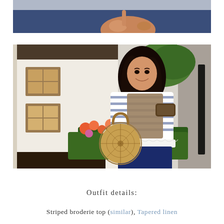[Figure (photo): Partial photo showing a person's hand holding something, navy blue fabric visible in the upper portion of the image, cropped at top of page]
[Figure (photo): Young woman with long dark hair smiling, wearing a striped broderie top with lace hem, a tan vest, and navy tapered trousers. She holds a round wicker/straw bag and a small brown wallet. She is standing on a street with a white brick building, window boxes of orange and pink flowers, and green trees in the background.]
Outfit details:
Striped broderie top (similar), Tapered linen